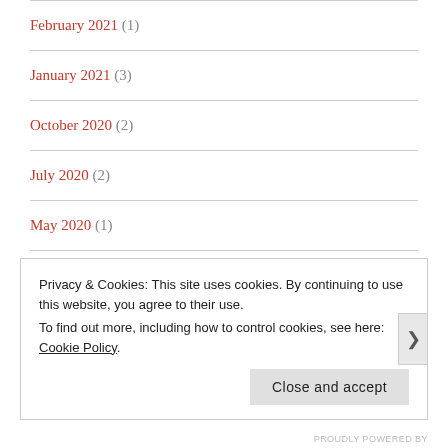February 2021 (1)
January 2021 (3)
October 2020 (2)
July 2020 (2)
May 2020 (1)
April 2020 (4)
Privacy & Cookies: This site uses cookies. By continuing to use this website, you agree to their use. To find out more, including how to control cookies, see here: Cookie Policy
PROUDLY POWERED BY